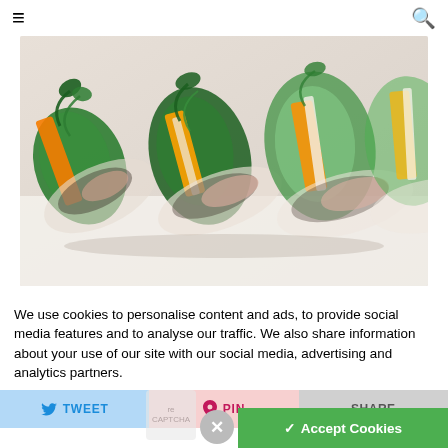☰  🔍
[Figure (photo): Close-up photo of Vietnamese fresh spring rolls wrapped in translucent rice paper, filled with fresh herbs, green vegetables, carrots, and other colorful ingredients, arranged in a row on a white surface.]
We use cookies to personalise content and ads, to provide social media features and to analyse our traffic. We also share information about your use of our site with our social media, advertising and analytics partners.
TWEET
PIN
✓ Accept Cookies